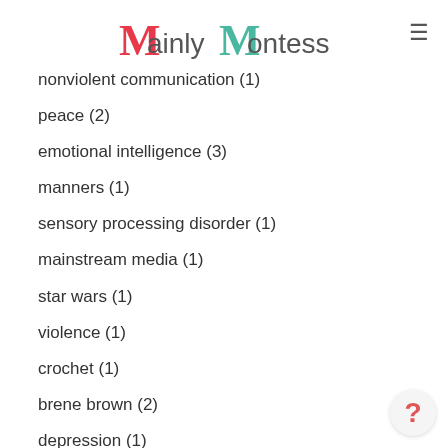Mainly Montessori
nonviolent communication (1)
peace (2)
emotional intelligence (3)
manners (1)
sensory processing disorder (1)
mainstream media (1)
star wars (1)
violence (1)
crochet (1)
brene brown (2)
depression (1)